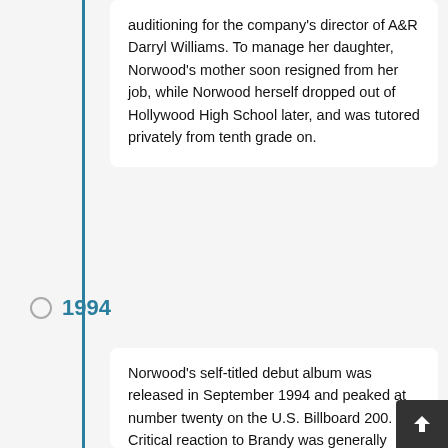auditioning for the company's director of A&R Darryl Williams. To manage her daughter, Norwood's mother soon resigned from her job, while Norwood herself dropped out of Hollywood High School later, and was tutored privately from tenth grade on.
1994
Norwood's self-titled debut album was released in September 1994 and peaked at number twenty on the U.S. Billboard 200. Critical reaction to Brandy was generally positive, with AllMusic writer Eddie Huffman declaring Brandy "a lower-key Janet Jackson or a more stripped-down Mary J. Blige [...] with good songs and crisp production." Anderson Jones of Entertainment Weekly asserted, "Teen actress Norwood acts her age. A premature effort at best, that seems based on the philosophy 'If Aaliyah can do it, why can't I?'." Brandy went on to sell over six million copies worldwide, and produced three top to